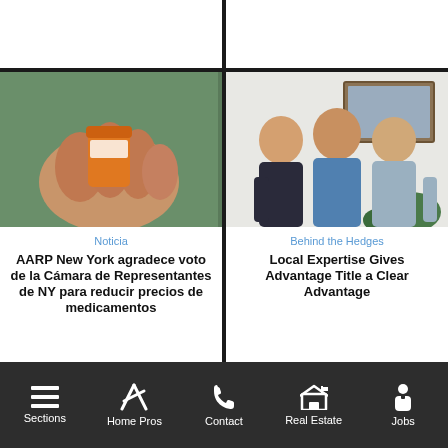[Figure (screenshot): Mobile news app screenshot showing two article cards and a bottom navigation bar]
Noticia
AARP New York agradece voto de la Cámara de Representantes de NY para reducir precios de medicamentos
Behind the Hedges
Local Expertise Gives Advantage Title a Clear Advantage
Sections  Home Pros  Contact  Real Estate  Jobs